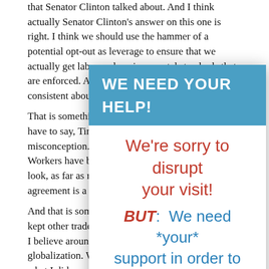OBAMA: I will make sure that we renegotiate, in the same way that Senator Clinton talked about. And I think actually Senator Clinton's answer on this one is right. I think we should use the hammer of a potential opt-out as leverage to ensure that we actually get labor and environmental standards that are enforced. And that is something that I have been consistent about year.
That is something that I will do as president. And I have to say, Tim, that I have to correct a misconception. I have been for for the United Auto Workers have been adamant about this. They said, look, as far as me, the South Korea free trade agreement is a continuation to NAFTA.
And that is something that I was not among that kept other trade deals. I want to renegotiate because I believe around and we can't shy away from globalization. We can't draw a moat around us. But what I did say, in that same quote, if you look at it, was that the problem is we've been negotiating just
[Figure (infographic): Modal popup overlay with blue header 'WE NEED YOUR HELP!' and body text in red and blue on white background saying: We're sorry to disrupt your visit! BUT: We need *your* support in order to keep providing The American Presidency Project for free. Please make a tax-deductible gift! Every gift]